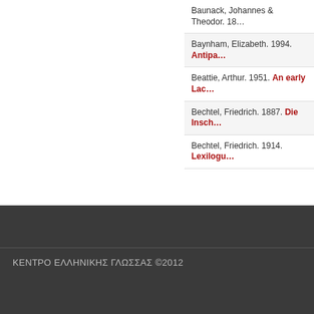| VIII 309) |
| Baunack, Johannes & Theodor. 18… |
| Baynham, Elizabeth. 1994. Antipa… |
| Beattie, Arthur. 1951. An early Lac… |
| Bechtel, Friedrich. 1887. Die Insch… |
| Bechtel, Friedrich. 1914. Lexilogu… |
« πρώτη  ‹ προηγ…
Εμφάνιση 81 - 100 από 2388
ΚΕΝΤΡΟ ΕΛΛΗΝΙΚΗΣ ΓΛΩΣΣΑΣ ©2012